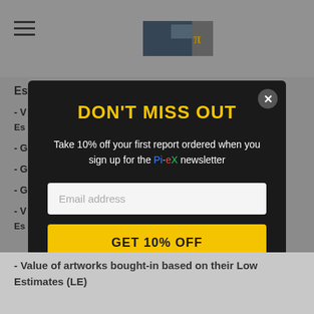[Figure (screenshot): Website header with hamburger menu icon on the left and Pi-eX logo image centered]
Estimates (LE)
- Value of artworks bought-in based on their Low Estimates (LE)
[Figure (infographic): Modal popup overlay with dark background. Title: DON'T MISS OUT (yellow). Body text: Take 10% off your first report ordered when you sign up for the Pi-eX newsletter. Email address input field. GET 10% OFF button in yellow.]
- Value of artworks bought-in based on their Low Estimates (LE)